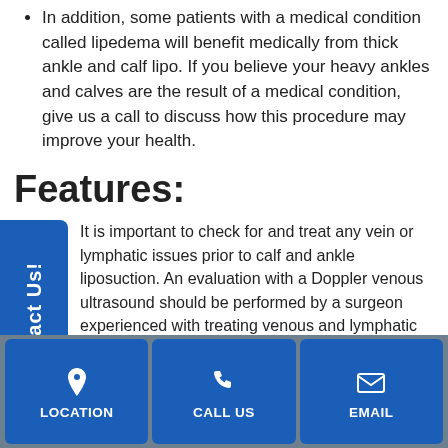In addition, some patients with a medical condition called lipedema will benefit medically from thick ankle and calf lipo. If you believe your heavy ankles and calves are the result of a medical condition, give us a call to discuss how this procedure may improve your health.
Features:
It is important to check for and treat any vein or lymphatic issues prior to calf and ankle liposuction. An evaluation with a Doppler venous ultrasound should be performed by a surgeon experienced with treating venous and lymphatic medical conditions to make sure all contributing factors to calf enlargement have been accounted for.
Get Better Results – with a surgeon experienced with liposuction and treating venous and lymphatic medical conditions. Get better, longer-lasting results...
[Figure (infographic): Bottom navigation bar with three buttons: LOCATION (map pin icon), CALL US (phone icon), EMAIL (envelope icon), on a blue background with grey border.]
Top Safety Ratings – check our status on safety. You'll